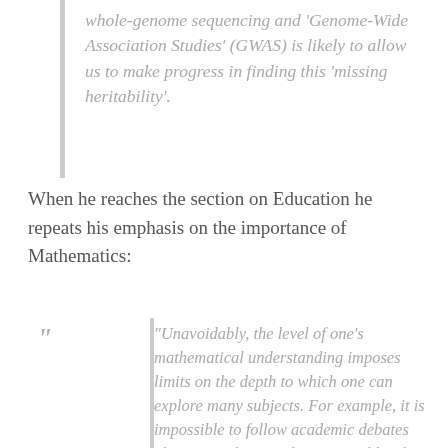whole-genome sequencing and 'Genome-Wide Association Studies' (GWAS) is likely to allow us to make progress in finding this 'missing heritability'.
When he reaches the section on Education he repeats his emphasis on the importance of Mathematics:
“Unavoidably, the level of one’s mathematical understanding imposes limits on the depth to which one can explore many subjects. For example, it is impossible to follow academic debates about IQ unless one knows roughly what ‘normal